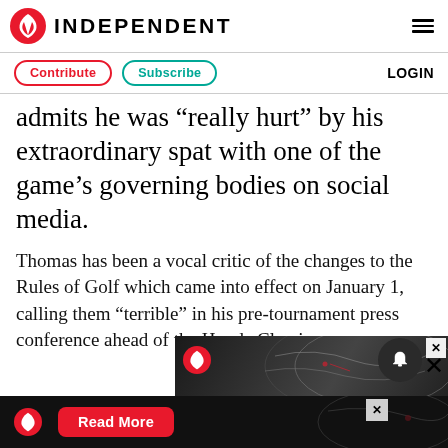INDEPENDENT
Contribute  Subscribe  LOGIN
admits he was “really hurt” by his extraordinary spat with one of the game’s governing bodies on social media.
Thomas has been a vocal critic of the changes to the Rules of Golf which came into effect on January 1, calling them “terrible” in his pre-tournament press conference ahead of the Honda Classic.
[Figure (screenshot): Advertisement banner with The Independent eagle logo and a 'Read More' button on a dark background with world map imagery]